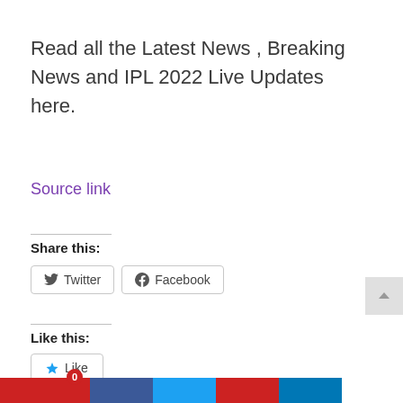Read all the Latest News , Breaking News and IPL 2022 Live Updates here.
Source link
Share this:
Twitter
Facebook
Like this:
Like
Be the first to like this.